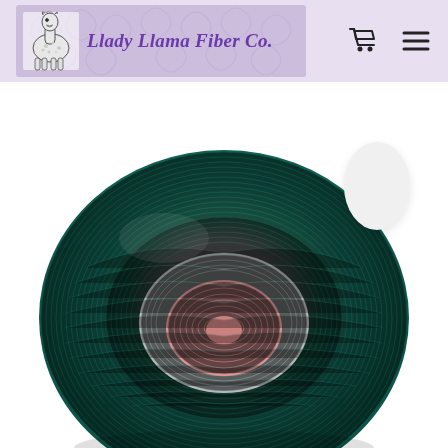Llady Llama Fiber Co.
[Figure (photo): A yarn cake/ball showing teal/dark green yarn on the outside transitioning through grey to pink/salmon at the center, photographed from above against a white background. A small white oval shape is visible in the upper right area of the image.]